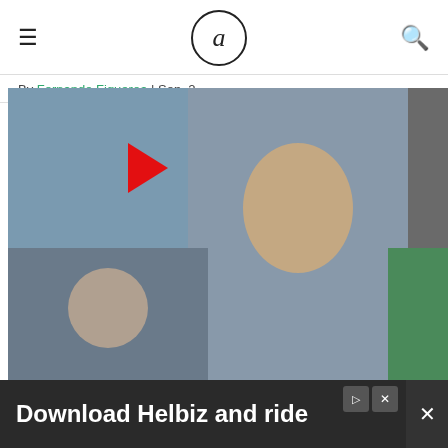a
By Fernando Figueroa | Sep. 2
2 Gainesville Police Department officers hospitalized after exposure to suspected opioids during an arrest
By Lily Kino | Aug. 29
[Figure (screenshot): Embedded Twitter/X widget showing tweets from @Th... with a retweet indicator for The Alligator Re... and a tweet from brandon @BranH2001 21m: Gators volleyball goes into the week ranked at]
[Figure (photo): Overlay advertisement image collage showing celebrity photos including woman in grey dress, woman getting out of car, people near jet, woman with sunglasses]
Download Helbiz and ride